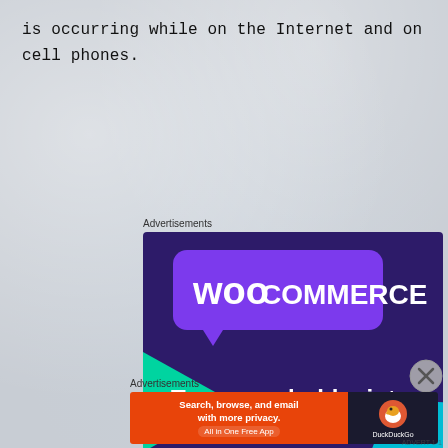is occurring while on the Internet and on cell phones.
Advertisements
[Figure (illustration): WooCommerce advertisement: dark purple background with purple speech bubble logo containing 'woo COMMERCE' text, green triangle shape on left, teal circle on right, text 'Turn your hobby into a business in 8 steps', white button 'Start a new store']
Advertisements
[Figure (illustration): DuckDuckGo advertisement: orange left panel with text 'Search, browse, and email with more privacy. All in One Free App', dark right panel with DuckDuckGo duck logo and brand name]